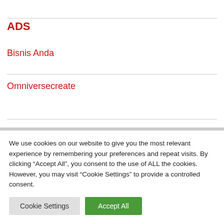ADS
Bisnis Anda
Omniversecreate
We use cookies on our website to give you the most relevant experience by remembering your preferences and repeat visits. By clicking “Accept All”, you consent to the use of ALL the cookies. However, you may visit "Cookie Settings" to provide a controlled consent.